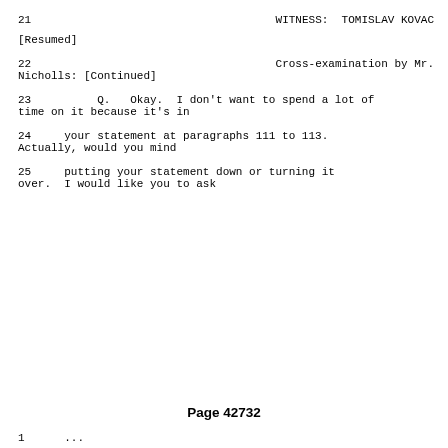21                                    WITNESS:  TOMISLAV KOVAC
[Resumed]
22                                    Cross-examination by Mr.
Nicholls: [Continued]
23          Q.   Okay.  I don't want to spend a lot of
time on it because it's in
24     your statement at paragraphs 111 to 113.
Actually, would you mind
25     putting your statement down or turning it
over.  I would like you to ask
Page 42732
1      ...